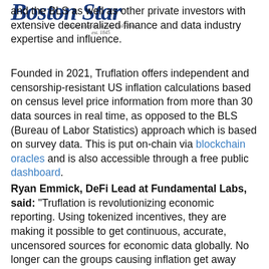Boston Star
Named after the Boston Daily Star
est. 1845
and the BLS as well as other private investors with extensive decentralized finance and data industry expertise and influence.
Founded in 2021, Truflation offers independent and censorship-resistant US inflation calculations based on census level price information from more than 30 data sources in real time, as opposed to the BLS (Bureau of Labor Statistics) approach which is based on survey data. This is put on-chain via blockchain oracles and is also accessible through a free public dashboard.
Ryan Emmick, DeFi Lead at Fundamental Labs, said: "Truflation is revolutionizing economic reporting. Using tokenized incentives, they are making it possible to get continuous, accurate, uncensored sources for economic data globally. No longer can the groups causing inflation get away